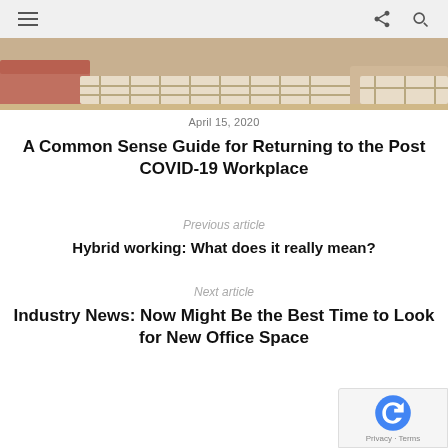navigation header with hamburger menu, share icon, and search icon
[Figure (photo): Partial view of an office or lounge seating area with upholstered furniture]
April 15, 2020
A Common Sense Guide for Returning to the Post COVID-19 Workplace
Previous article
Hybrid working: What does it really mean?
Next article
Industry News: Now Might Be the Best Time to Look for New Office Space